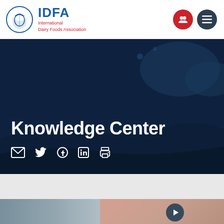[Figure (logo): IDFA International Dairy Foods Association logo with circular emblem and text]
IDFA International Dairy Foods Association
Knowledge Center
[Figure (infographic): Social share icons: email, Twitter, Facebook, LinkedIn, print]
[Figure (photo): Partial bottom image strip visible at bottom of page]